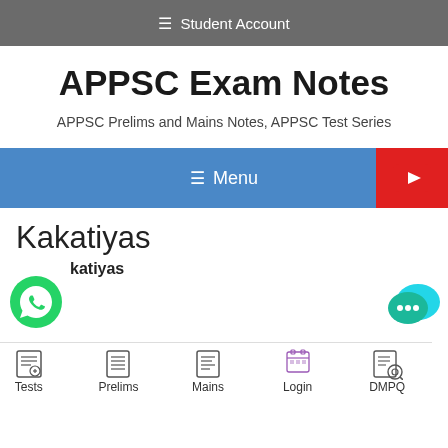≡ Student Account
APPSC Exam Notes
APPSC Prelims and Mains Notes, APPSC Test Series
≡ Menu
Kakatiyas
katiyas
[Figure (logo): WhatsApp green phone icon]
[Figure (logo): YouTube red play button icon]
[Figure (logo): Teal chat bubble with three dots]
Tests  Prelims  Mains  Login  DMPQ